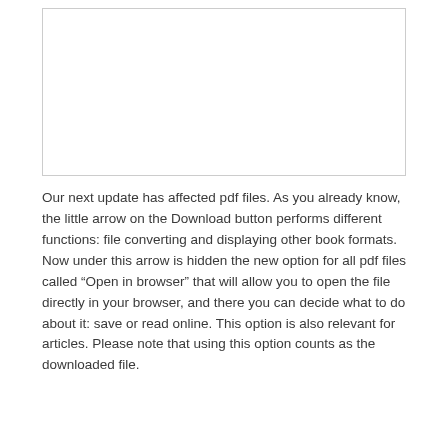[Figure (other): Empty white rectangle with a light gray border, representing a placeholder image or screenshot area.]
Our next update has affected pdf files. As you already know, the little arrow on the Download button performs different functions: file converting and displaying other book formats. Now under this arrow is hidden the new option for all pdf files called “Open in browser” that will allow you to open the file directly in your browser, and there you can decide what to do about it: save or read online. This option is also relevant for articles. Please note that using this option counts as the downloaded file.